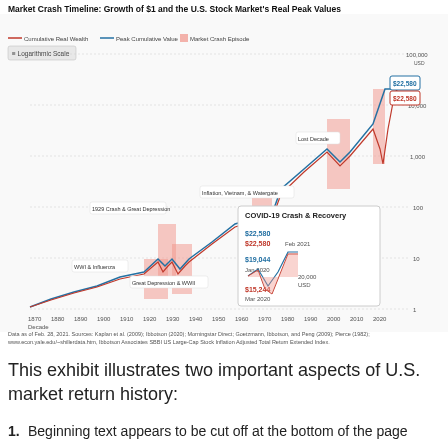Market Crash Timeline: Growth of $1 and the U.S. Stock Market's Real Peak Values
[Figure (line-chart): Logarithmic scale chart showing cumulative real wealth (red line) and peak cumulative value (blue line) of $1 invested in U.S. stocks from 1870 to 2020, with shaded pink regions marking market crash episodes. Key annotations include: WWI & Influenza, 1929 Crash & Great Depression, Great Depression & WWII, Inflation Vietnam & Watergate, Lost Decade, COVID-19 Crash & Recovery. Final values shown as $22,580. Y-axis ranges from 1 to 100,000 USD. X-axis shows decades from 1870 to 2020. Inset shows COVID-19 episode: Jan 2020 $19,044, Mar 2020 $15,244, Feb 2021 $22,580.]
Data as of Feb. 28, 2021. Sources: Kaplan et al. (2009); Ibbotson (2020); Morningstar Direct; Goetzmann, Ibbotson, and Peng (2009); Pierce (1982); www.econ.yale.edu/~shillerdata.htm, Ibbotson Associates SBBI US Large-Cap Stock Inflation Adjusted Total Return Extended Index.
This exhibit illustrates two important aspects of U.S. market return history:
1.  Beginning text appears to be cut off at bottom of page